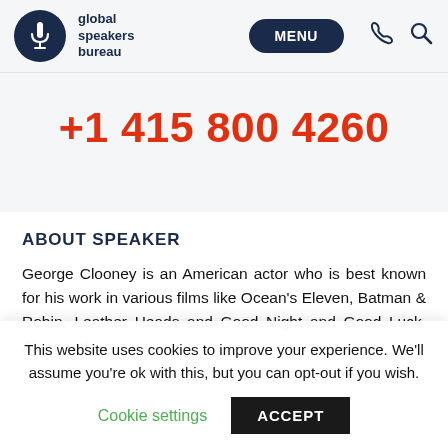global speakers bureau | MENU
+1 415 800 4260
ABOUT SPEAKER
George Clooney is an American actor who is best known for his work in various films like Ocean's Eleven, Batman & Robin, Leather Heads and Good Night and Good Luck. Along with
This website uses cookies to improve your experience. We'll assume you're ok with this, but you can opt-out if you wish.
Cookie settings  ACCEPT